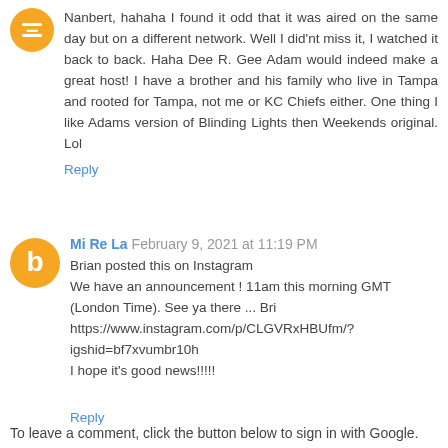Nanbert, hahaha I found it odd that it was aired on the same day but on a different network. Well I did'nt miss it, I watched it back to back. Haha Dee R. Gee Adam would indeed make a great host! I have a brother and his family who live in Tampa and rooted for Tampa, not me or KC Chiefs either. One thing I like Adams version of Blinding Lights then Weekends original. Lol
Reply
Mi Re La  February 9, 2021 at 11:19 PM
Brian posted this on Instagram
We have an announcement ! 11am this morning GMT (London Time). See ya there ... Bri
https://www.instagram.com/p/CLGVRxHBUfm/?igshid=bf7xvumbr10h
I hope it's good news!!!!!
Reply
To leave a comment, click the button below to sign in with Google.